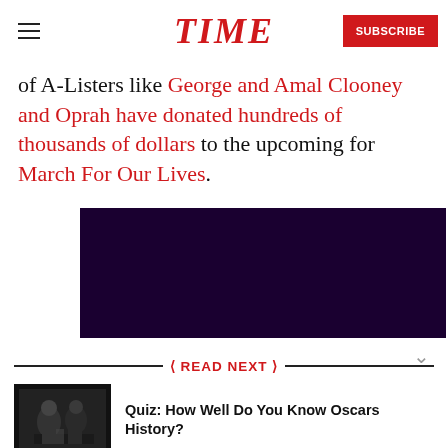TIME | SUBSCRIBE
of A-Listers like George and Amal Clooney and Oprah have donated hundreds of thousands of dollars to the upcoming for March For Our Lives.
[Figure (other): Dark purple/navy advertisement block]
READ NEXT
Quiz: How Well Do You Know Oscars History?